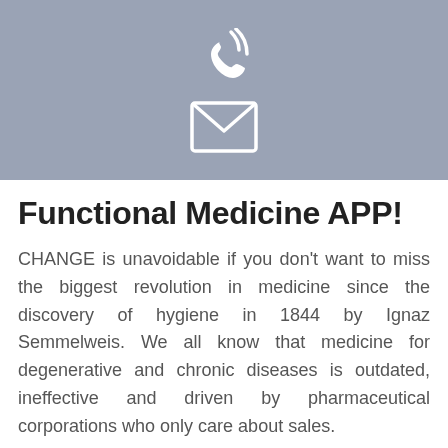[Figure (illustration): Gray banner with two white icons: a phone handset with signal waves above, and an envelope (email) icon below]
Functional Medicine APP!
CHANGE is unavoidable if you don't want to miss the biggest revolution in medicine since the discovery of hygiene in 1844 by Ignaz Semmelweis.  We all know that medicine for degenerative and chronic diseases is outdated, ineffective and driven by pharmaceutical corporations who only care about sales.